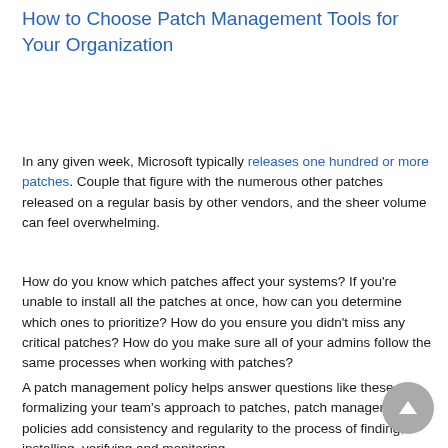How to Choose Patch Management Tools for Your Organization
In any given week, Microsoft typically releases one hundred or more patches. Couple that figure with the numerous other patches released on a regular basis by other vendors, and the sheer volume can feel overwhelming.
How do you know which patches affect your systems? If you're unable to install all the patches at once, how can you determine which ones to prioritize? How do you ensure you didn't miss any critical patches? How do you make sure all of your admins follow the same processes when working with patches?
A patch management policy helps answer questions like these. By formalizing your team's approach to patches, patch management policies add consistency and regularity to the process of finding, installing, verifying and monitoring patches.